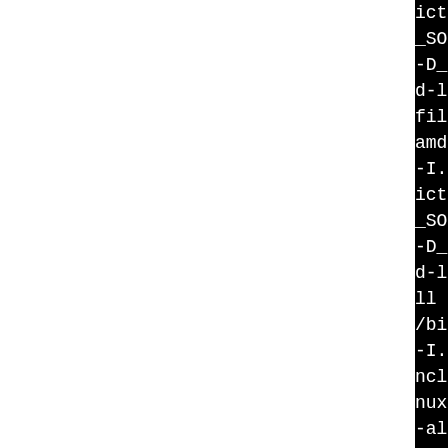[Figure (screenshot): Terminal/console output showing compiler commands (gcc build output) on a black background, partially cropped. Left portion of page is white (blank). Right portion shows black terminal with white monospace text lines of compiler flags and commands.]